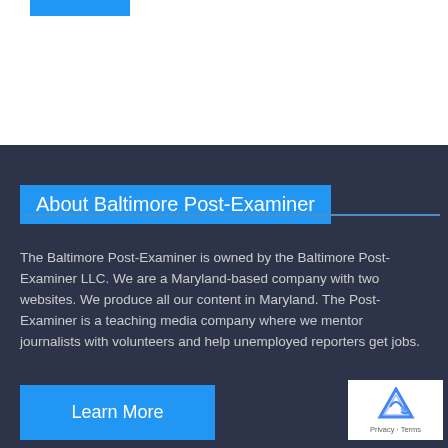About Baltimore Post-Examiner
The Baltimore Post-Examiner is owned by the Baltimore Post-Examiner LLC. We are a Maryland-based company with two websites. We produce all our content in Maryland. The Post-Examiner is a teaching media company where we mentor journalists with volunteers and help unemployed reporters get jobs.
Learn More